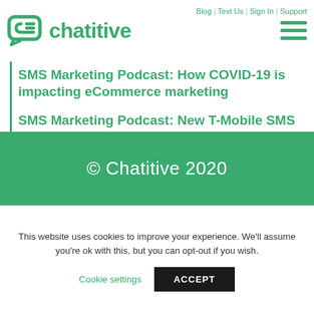Blog | Text Us | Sign In | Support
[Figure (logo): Chatitive logo with green chat bubble icon and green text 'chatitive']
SMS Marketing Podcast: How COVID-19 is impacting eCommerce marketing
SMS Marketing Podcast: New T-Mobile SMS Cart Abandonment Rules
© Chatitive 2020
This website uses cookies to improve your experience. We'll assume you're ok with this, but you can opt-out if you wish.
Cookie settings  ACCEPT